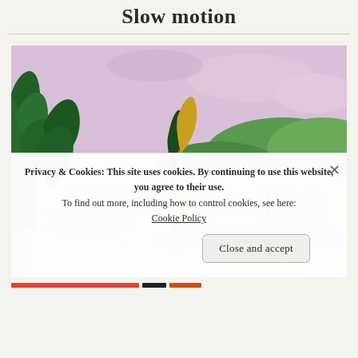Slow motion
[Figure (illustration): An impressionist oil painting of a lake scene with tall green conifer trees on the left, a small island with a tree in the center reflected in still water, green hills in the background, and a pink/lavender sky. The water reflects purple and green tones.]
Privacy & Cookies: This site uses cookies. By continuing to use this website, you agree to their use. To find out more, including how to control cookies, see here: Cookie Policy
Close and accept